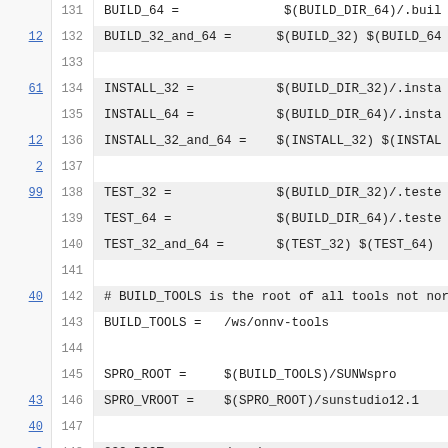Source code view showing lines 131-153 of a Makefile with blame annotations
131: BUILD_64 = $(BUILD_DIR_64)/.buil
12 132: BUILD_32_and_64 = $(BUILD_32) $(BUILD_64
133: (empty)
61 134: INSTALL_32 = $(BUILD_DIR_32)/.insta
135: INSTALL_64 = $(BUILD_DIR_64)/.insta
12 136: INSTALL_32_and_64 = $(INSTALL_32) $(INSTAL
2 137: (empty)
99 138: TEST_32 = $(BUILD_DIR_32)/.teste
139: TEST_64 = $(BUILD_DIR_64)/.teste
140: TEST_32_and_64 = $(TEST_32) $(TEST_64)
141: (empty)
40 142: # BUILD_TOOLS is the root of all tools not nor
143: BUILD_TOOLS = /ws/onnv-tools
144: (empty)
145: SPRO_ROOT = $(BUILD_TOOLS)/SUNWspro
43 146: SPRO_VROOT = $(SPRO_ROOT)/sunstudio12.1
40 147: (empty)
2 148: GCC_ROOT = /usr/gnu
149: (empty)
99 150: CC.studio.32 = $(SPRO_VROOT)/bin/cc
151: CCC.studio.32 = $(SPRO_VROOT)/bin/CC
2 152: (empty)
99 153: CC.studio.64 = $(SPRO_VROOT)/bin/cc